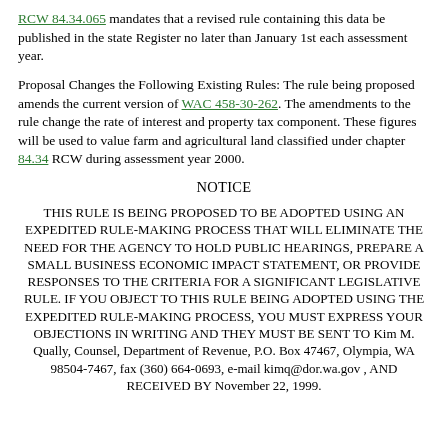RCW 84.34.065 mandates that a revised rule containing this data be published in the state Register no later than January 1st each assessment year.
Proposal Changes the Following Existing Rules: The rule being proposed amends the current version of WAC 458-30-262. The amendments to the rule change the rate of interest and property tax component. These figures will be used to value farm and agricultural land classified under chapter 84.34 RCW during assessment year 2000.
NOTICE
THIS RULE IS BEING PROPOSED TO BE ADOPTED USING AN EXPEDITED RULE-MAKING PROCESS THAT WILL ELIMINATE THE NEED FOR THE AGENCY TO HOLD PUBLIC HEARINGS, PREPARE A SMALL BUSINESS ECONOMIC IMPACT STATEMENT, OR PROVIDE RESPONSES TO THE CRITERIA FOR A SIGNIFICANT LEGISLATIVE RULE. IF YOU OBJECT TO THIS RULE BEING ADOPTED USING THE EXPEDITED RULE-MAKING PROCESS, YOU MUST EXPRESS YOUR OBJECTIONS IN WRITING AND THEY MUST BE SENT TO Kim M. Qually, Counsel, Department of Revenue, P.O. Box 47467, Olympia, WA 98504-7467, fax (360) 664-0693, e-mail kimq@dor.wa.gov , AND RECEIVED BY November 22, 1999.